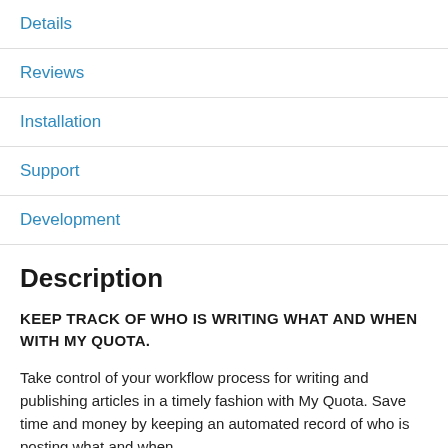Details
Reviews
Installation
Support
Development
Description
KEEP TRACK OF WHO IS WRITING WHAT AND WHEN WITH MY QUOTA.
Take control of your workflow process for writing and publishing articles in a timely fashion with My Quota. Save time and money by keeping an automated record of who is posting what and when